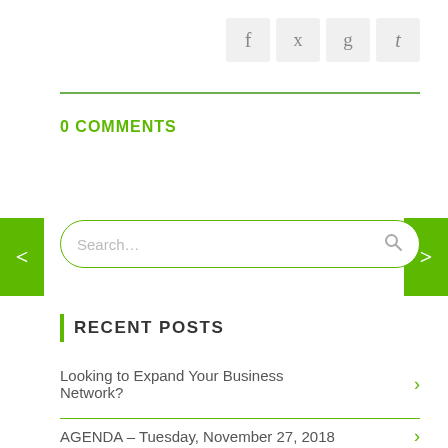[Figure (other): Social media share icons for Facebook, Twitter, Google+, and Tumblr]
0 COMMENTS
Search...
RECENT POSTS
Looking to Expand Your Business Network?
AGENDA – Tuesday, November 27, 2018